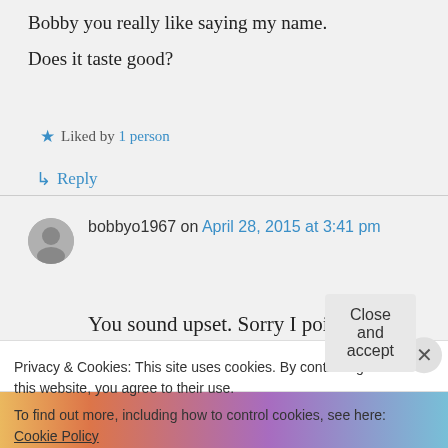Bobby you really like saying my name. Does it taste good?
★ Liked by 1 person
↳ Reply
bobbyo1967 on April 28, 2015 at 3:41 pm
You sound upset. Sorry I pointed out how for all the followers and
Privacy & Cookies: This site uses cookies. By continuing to use this website, you agree to their use. To find out more, including how to control cookies, see here: Cookie Policy
Close and accept